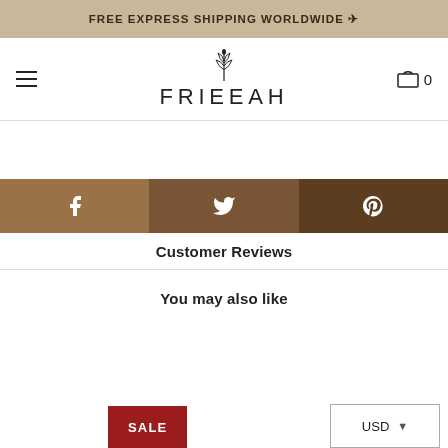FREE EXPRESS SHIPPING WORLDWIDE →
[Figure (logo): FRIEEAH brand logo with wheat/plant icon above the text]
[Figure (infographic): Social sharing bar with Facebook, Twitter, and Pinterest icons in brown tones]
Customer Reviews
You may also like
[Figure (other): Red SALE badge at bottom left]
[Figure (other): USD currency selector dropdown at bottom right]